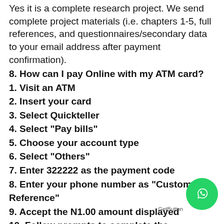Yes it is a complete research project. We send complete project materials (i.e. chapters 1-5, full references, and questionnaires/secondary data to your email address after payment confirmation).
8. How can I pay Online with my ATM card?
1. Visit an ATM
2. Insert your card
3. Select Quickteller
4. Select "Pay bills"
5. Choose your account type
6. Select "Others"
7. Enter 322222 as the payment code
8. Enter your phone number as "Customer Reference"
9. Accept the N1.00 amount displayed
10. Follow prompts to complete the transaction
9. How will I receive a software?
A link to download the software will always be on the first page of the material•
10. I have a fresh topic that is not on your site. How do I go about it?